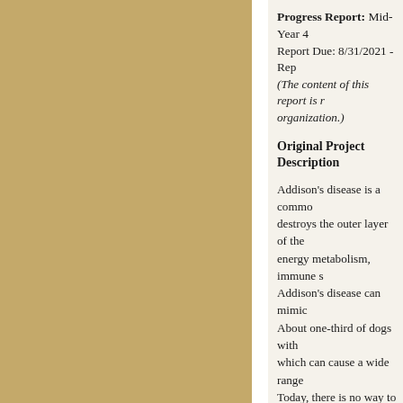Progress Report: Mid-Year 4
Report Due: 8/31/2021 - Rep...
(The content of this report is r... organization.)
Original Project Description
Addison's disease is a commo... destroys the outer layer of the... energy metabolism, immune s... Addison's disease can mimic ... About one-third of dogs with... which can cause a wide range... Today, there is no way to pred... such a test were available, ve... helping to prevent disease-rel... the investigator will use a nov... antibodies that target the adre... Cocker Spaniels with Addison... onset of clinical signs. The ab... diagnosis. This research will e... disease that can help improve... condition.